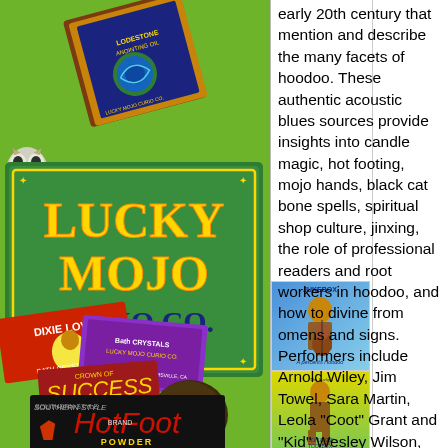[Figure (photo): Left column collage on green background showing Lucky Mojo Curio Co. product packages: Lodestone Anointing Oil box at top, Lucky Mojo Curio Co. label in center (purple/yellow), Dixie Love and Bath Crystals packages, Crown of Success oil with a black walnut, Southern Style Hot Foot Brand Powder box at bottom. Small product images on left side include a skull figure.]
[Figure (photo): Small thumbnail image: 'A percent's Hoodoo Jukebox' album/book cover showing a woman playing guitar]
[Figure (photo): Small thumbnail image: 'The Lucky Conjure Toolbox' cover showing a figure on yellow/green background]
early 20th century that mention and describe the many facets of hoodoo. These authentic acoustic blues sources provide insights into candle magic, hot footing, mojo hands, black cat bone spells, spiritual shop culture, jinxing, the role of professional readers and root workers in hoodoo, and how to divine from omens and signs. Performers include Arnold Wiley, Jim Towel, Sara Martin, Leola "Coot" Grant and "Kid" Wesley Wilson, Blind Willie McTell, Clifford Gibson, Margaret Whitmire, J. T. "Funny Papa" Smith, Bill "Jazz" Gillum, Johnnie Temple, Waymon "Sloppy" Henry, the Memphis Jug Band, and more.